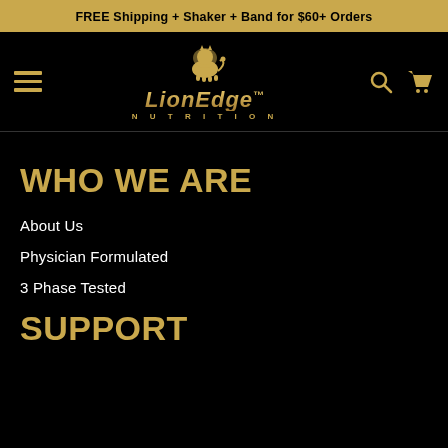FREE Shipping + Shaker + Band for $60+ Orders
[Figure (logo): LionEdge Nutrition logo with lion icon and hamburger menu, search and cart icons on black navigation bar]
WHO WE ARE
About Us
Physician Formulated
3 Phase Tested
SUPPORT